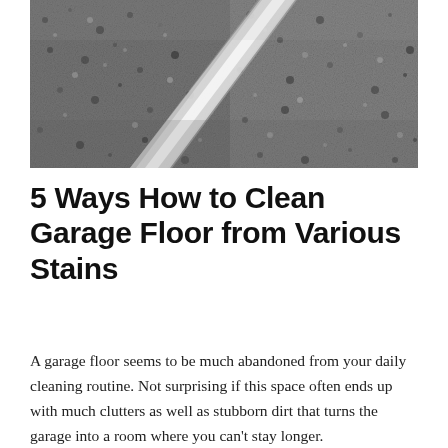[Figure (photo): Close-up photograph of a concrete/asphalt garage or road floor surface with a diagonal white painted line or edge running from upper-right to lower-left, showing a rough speckled grey texture.]
5 Ways How to Clean Garage Floor from Various Stains
A garage floor seems to be much abandoned from your daily cleaning routine. Not surprising if this space often ends up with much clutters as well as stubborn dirt that turns the garage into a room where you can't stay longer.